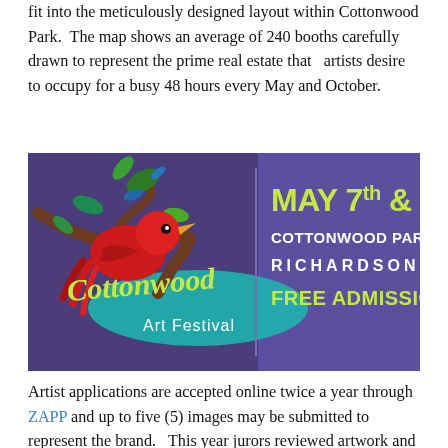fit into the meticulously designed layout within Cottonwood Park.  The map shows an average of 240 booths carefully drawn to represent the prime real estate that   artists desire to occupy for a busy 48 hours every May and October.
[Figure (illustration): Cottonwood Art Festival banner with a red bird on a branch against a purple background. Text reads: MAY 7th & 8th COTTONWOOD PARK RICHARDSON FREE ADMISSION]
Artist applications are accepted online twice a year through ZAPP and up to five (5) images may be submitted to represent the brand.   This year jurors reviewed artwork and collections from approximately 750 artists. The coveted artist slots are narrowed through a competitive jury process where each artist is scored by jury members on a scale of yes-no-maybe in the first round, creating a ranked group of artists in each category deemed qualified to advance to the